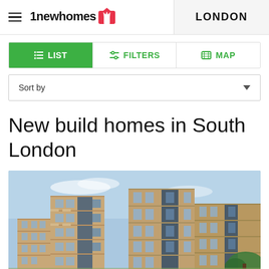1newhomes | LONDON
LIST | FILTERS | MAP
Sort by
New build homes in South London
[Figure (photo): Photograph of a modern multi-storey residential apartment building with brick facade and balconies against a blue sky]